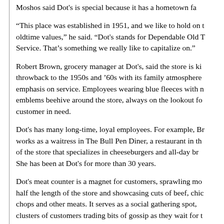Moshos said Dot's is special because it has a hometown fa...
“This place was established in 1951, and we like to hold on to oldtime values,” he said. “Dot's stands for Dependable Old T... Service. That’s something we really like to capitalize on.”
Robert Brown, grocery manager at Dot's, said the store is ki... throwback to the 1950s and '60s with its family atmosphere emphasis on service. Employees wearing blue fleeces with n... emblems beehive around the store, always on the lookout fo... customer in need.
Dot's has many long-time, loyal employees. For example, Br... works as a waitress in The Bull Pen Diner, a restaurant in th... of the store that specializes in cheeseburgers and all-day br... She has been at Dot's for more than 30 years.
Dot's meat counter is a magnet for customers, sprawling mo... half the length of the store and showcasing cuts of beef, chic... chops and other meats. It serves as a social gathering spot, clusters of customers trading bits of gossip as they wait for t... numbers to be called.